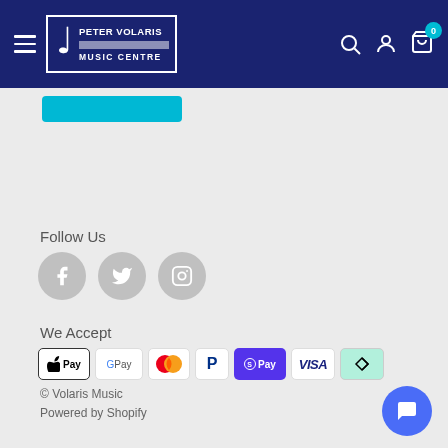Peter Volaris Music Centre — navigation bar with logo, search, account, and cart icons
[Figure (screenshot): Teal/cyan button element below navigation bar]
Follow Us
[Figure (infographic): Social media icons: Facebook, Twitter, Instagram — grey circular buttons]
We Accept
[Figure (infographic): Payment method badges: Apple Pay, Google Pay, Mastercard, PayPal, Shop Pay, Visa, Afterpay]
© Volaris Music
Powered by Shopify